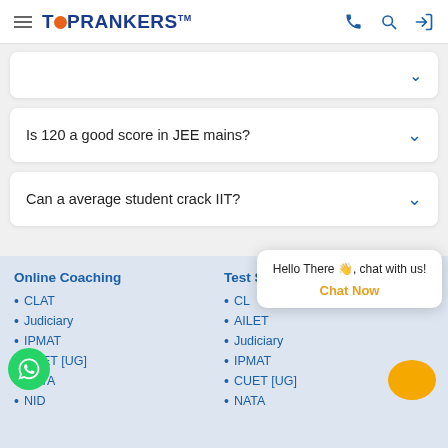TOPRANKERS
Is 120 a good score in JEE mains?
Can a average student crack IIT?
Online Coaching
CLAT
Judiciary
IPMAT
CUET [UG]
NATA
NID
Test Series
CLAT
AILET
Judiciary
IPMAT
CUET [UG]
NATA
Hello There 👋, chat with us!
Chat Now